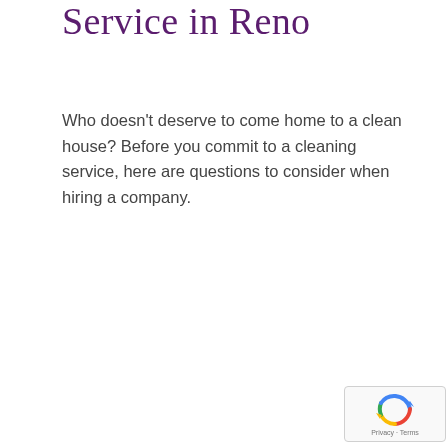Service in Reno
Who doesn't deserve to come home to a clean house? Before you commit to a cleaning service, here are questions to consider when hiring a company.
[Figure (logo): Google reCAPTCHA badge with spinning arrows logo and Privacy - Terms text]